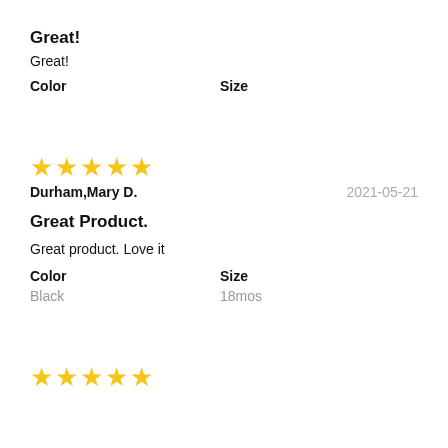Great!
Great!
Color    Size
[Figure (other): 5 yellow stars rating]
Durham,Mary D.    2021-05-21
Great Product.
Great product. Love it
Color    Size
Black    18mos
[Figure (other): 4 yellow stars rating (partial)]